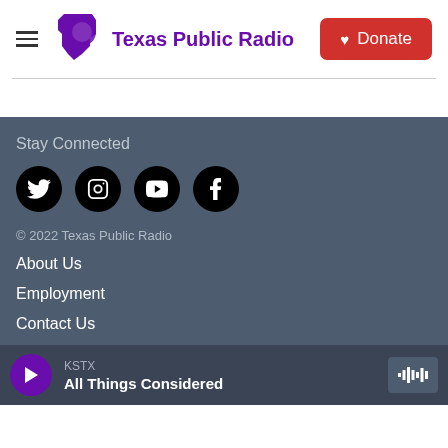Texas Public Radio
[Figure (logo): Texas Public Radio logo with purple Texas state shape and speech bubble icon]
Donate
Stay Connected
[Figure (infographic): Four social media icons: Twitter, Instagram, YouTube, Facebook — white icons on black circles]
© 2022 Texas Public Radio
About Us
Employment
Contact Us
KSTX
All Things Considered